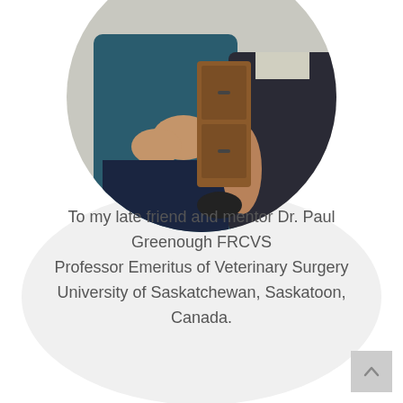[Figure (photo): Circular cropped photograph of two people seated, one wearing a teal/blue top with hands clasped, another in a dark shirt, with a wooden cabinet in the background.]
To my late friend and mentor Dr. Paul Greenough FRCVS
Professor Emeritus of Veterinary Surgery
University of Saskatchewan, Saskatoon, Canada.